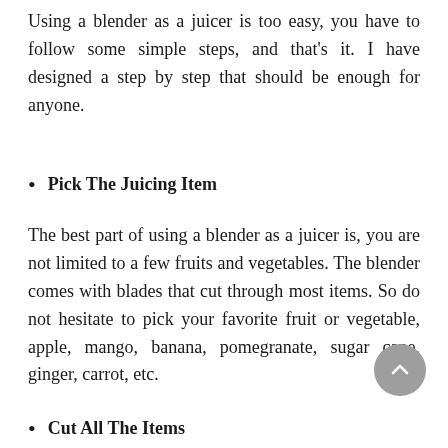Using a blender as a juicer is too easy, you have to follow some simple steps, and that's it. I have designed a step by step that should be enough for anyone.
Pick The Juicing Item
The best part of using a blender as a juicer is, you are not limited to a few fruits and vegetables. The blender comes with blades that cut through most items. So do not hesitate to pick your favorite fruit or vegetable, apple, mango, banana, pomegranate, sugar cane, ginger, carrot, etc.
Cut All The Items